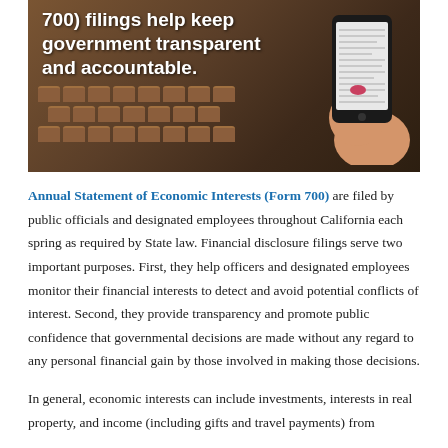[Figure (photo): Photo of a government chamber/auditorium with rows of wooden seats, overlaid with large white bold text reading '700) filings help keep government transparent and accountable.' A hand holding a smartphone with a form displayed is visible on the right side.]
Annual Statement of Economic Interests (Form 700) are filed by public officials and designated employees throughout California each spring as required by State law. Financial disclosure filings serve two important purposes. First, they help officers and designated employees monitor their financial interests to detect and avoid potential conflicts of interest. Second, they provide transparency and promote public confidence that governmental decisions are made without any regard to any personal financial gain by those involved in making those decisions.
In general, economic interests can include investments, interests in real property, and income (including gifts and travel payments) from